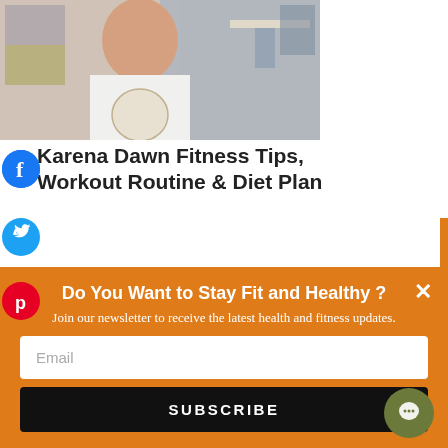[Figure (photo): Woman in white t-shirt smiling, holding a globe, colorful background]
Karena Dawn Fitness Tips, Workout Routine & Diet Plan
[Figure (photo): Person exercising in a gym setting, dark/blue background]
Do You Want to Stay Fit and Healthy ?
Join our newsletter to receive the latest health and fitness updates.
Email
SUBSCRIBE